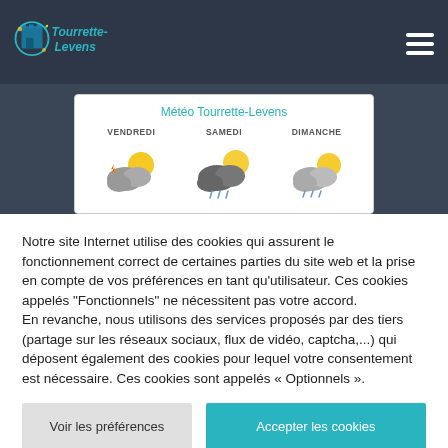Tourrette-Levens
[Figure (illustration): Weather widget showing Météo Tourrette-Levens with three days: VENDREDI, SAMEDI, DIMANCHE each with a cloudy/partly sunny weather icon]
Notre site Internet utilise des cookies qui assurent le fonctionnement correct de certaines parties du site web et la prise en compte de vos préférences en tant qu'utilisateur. Ces cookies appelés "Fonctionnels" ne nécessitent pas votre accord.
En revanche, nous utilisons des services proposés par des tiers (partage sur les réseaux sociaux, flux de vidéo, captcha,...) qui déposent également des cookies pour lequel votre consentement est nécessaire. Ces cookies sont appelés « Optionnels ».
Voir les préférences
Accepter les cookies